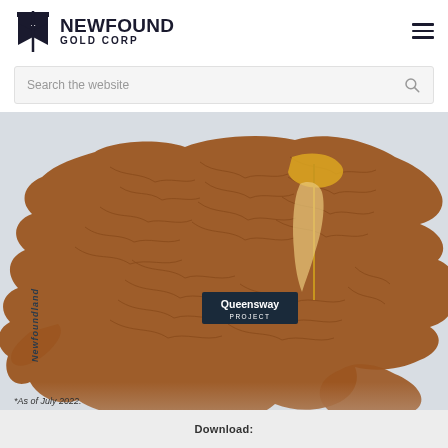[Figure (logo): NewFound Gold Corp logo with stylized mountain/flag emblem and company name]
[Figure (map): Topographic relief map of Newfoundland island showing the Queensway Project location marked with a yellow flag and dark label. The island is shown in reddish-brown terrain colors against a light grey background. 'Newfoundland' is written vertically on the left side of the island. A yellow flag marker and 'Queensway PROJECT' label are shown near the center-right of the island.]
*As of July 2022.
Download: